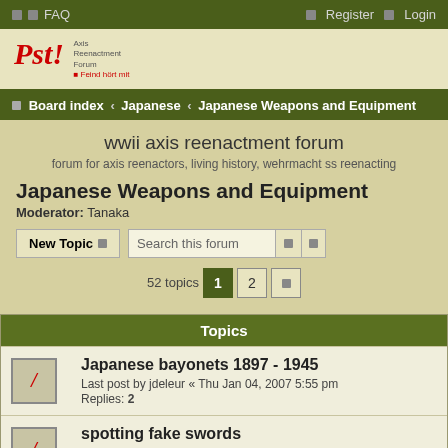□ □ FAQ   □ Register □ Login
[Figure (logo): Pst! Axis Reenactment Forum - Feind hört mit logo]
□ Board index ‹ Japanese ‹ Japanese Weapons and Equipment
wwii axis reenactment forum
forum for axis reenactors, living history, wehrmacht ss reenacting
Japanese Weapons and Equipment
Moderator: Tanaka
New Topic □   Search this forum  52 topics  1  2  □
| Topics |
| --- |
| Japanese bayonets 1897 - 1945 | Last post by jdeleur « Thu Jan 04, 2007 5:55 pm | Replies: 2 |
| spotting fake swords | Last post by jdeleur « Thu Jun 01, 2006 5:33 pm | Replies: 12 |